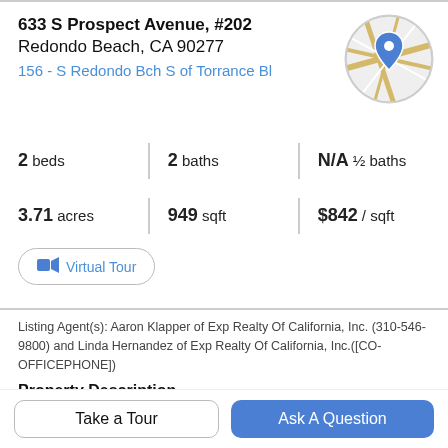633 S Prospect Avenue, #202
Redondo Beach, CA 90277
156 - S Redondo Bch S of Torrance Bl
[Figure (map): Circular map thumbnail showing street map with blue location pin marker]
2 beds | 2 baths | N/A ½ baths | 3.71 acres | 949 sqft | $842 / sqft
🎥 Virtual Tour
Listing Agent(s): Aaron Klapper of Exp Realty Of California, Inc. (310-546-9800) and Linda Hernandez of Exp Realty Of California, Inc.([CO-OFFICEPHONE])
Property Description
Live the South Bay Dream at Brookside Village, offering a
Take a Tour
Ask A Question